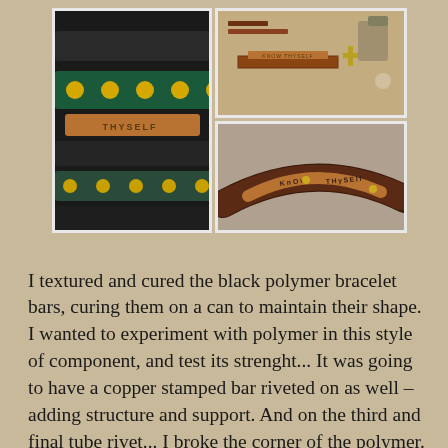[Figure (photo): Left photo: stacked black polymer bracelet bars with green and yellow polka dot fabric band, copper stamped bar with 'THYSELF' text visible]
[Figure (photo): Top right photo: overhead view of bracelets and jewelry making supplies on a table]
[Figure (photo): Bottom right photo: curved dark brown/copper bracelet stamped with 'KNOW THYSELF' with brass rivets]
I textured and cured the black polymer bracelet bars, curing them on a can to maintain their shape. I wanted to experiment with polymer in this style of component, and test its strenght... It was going to have a copper stamped bar riveted on as well – adding structure and support. And on the third and final tube rivet... I broke the corner of the polymer. The saying "Know Thyself" is attributed to the Delphic Oracle, and a favorite of mine.